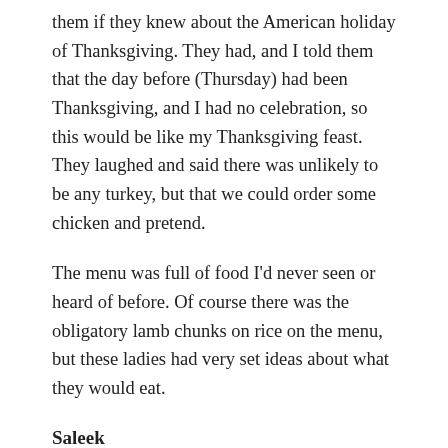them if they knew about the American holiday of Thanksgiving. They had, and I told them that the day before (Thursday) had been Thanksgiving, and I had no celebration, so this would be like my Thanksgiving feast. They laughed and said there was unlikely to be any turkey, but that we could order some chicken and pretend.
The menu was full of food I'd never seen or heard of before. Of course there was the obligatory lamb chunks on rice on the menu, but these ladies had very set ideas about what they would eat.
Saleek
A lot of Middle Eastern recipes involve first boiling then roasting a chicken. I'm usually opposed to the boiling of